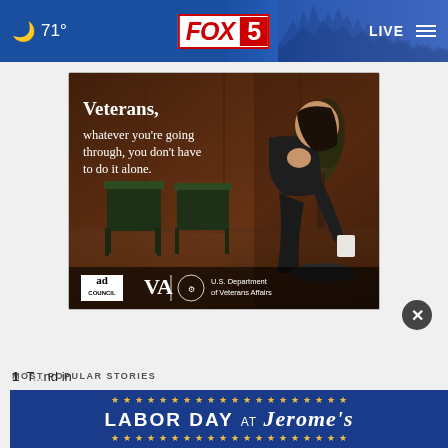🌙 71° | FOX 5 | LIVE
[Figure (photo): Advertisement from Ad Council and U.S. Department of Veterans Affairs showing a veteran sitting alone on a chair in a dark room, looking distressed. Text reads: 'Veterans, whatever you're going through, you don't have to do it alone.' Logos of Ad Council, VA, and U.S. Department of Veterans Affairs shown at bottom.]
Veterans, whatever you're going through, you don't have to do it alone.
MOST POPULAR STORIES
[Figure (infographic): Jerome's furniture Labor Day promotional banner with text: LABOR DAY AT Jerome's, decorated with gold stars on dark blue background.]
1  T... nd in